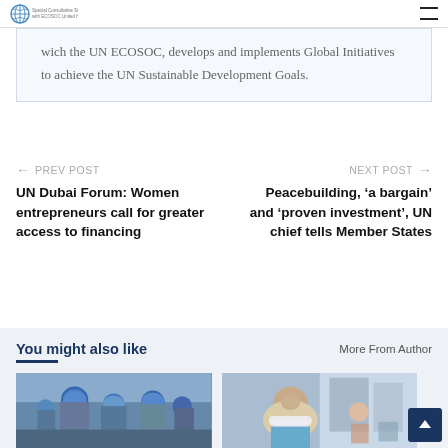Special Consultative Status with ECOSOC United Nations
wich the UN ECOSOC, develops and implements Global Initiatives to achieve the UN Sustainable Development Goals.
← PREV POST
UN Dubai Forum: Women entrepreneurs call for greater access to financing
NEXT POST →
Peacebuilding, 'a bargain' and 'proven investment', UN chief tells Member States
You might also like
More From Author
[Figure (photo): Group of people in blue UN berets uniforms, smiling]
[Figure (photo): Woman with blonde hair wearing a white face mask, outdoors with buildings in background]